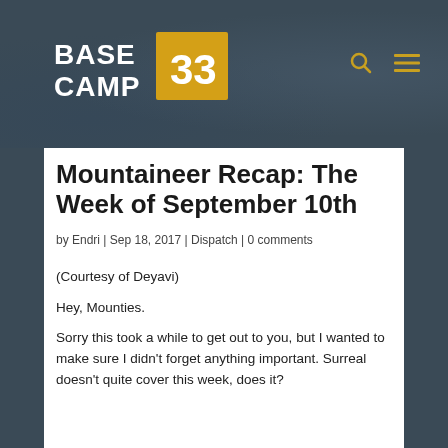[Figure (logo): BASE CAMP 33 logo — white bold text 'BASE CAMP' with yellow box containing '33']
Mountaineer Recap: The Week of September 10th
by Endri | Sep 18, 2017 | Dispatch | 0 comments
(Courtesy of Deyavi)
Hey, Mounties.
Sorry this took a while to get out to you, but I wanted to make sure I didn't forget anything important. Surreal doesn't quite cover this week, does it?